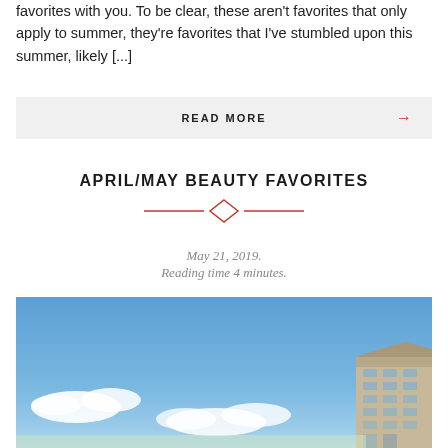favorites with you. To be clear, these aren't favorites that only apply to summer, they're favorites that I've stumbled upon this summer, likely [...]
READ MORE →
APRIL/MAY BEAUTY FAVORITES
May 21, 2019.
Reading time 4 minutes.
[Figure (photo): Photo of a blue sky with white clouds and a multi-story building visible in the lower right corner]